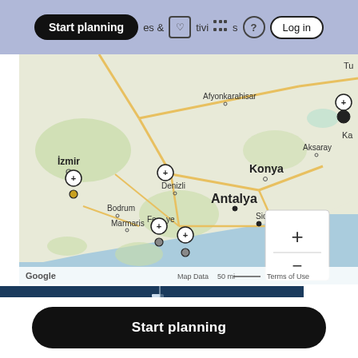[Figure (screenshot): Navigation bar with 'Start planning' button in black rounded pill, followed by partial text 'es & [heart icon]tivi[grid icon]s', help circle icon, and 'Log in' button outline, on a light purple/grey header bar background]
[Figure (map): Google Maps showing western Turkey region with cities labeled: İzmir, Afyonkarahisar, Aksaray, Konya, Antalya, Side, Alanya, Bodrum, Marmaris, Fethiye, Denizli, and Ka (Kapadokya partially visible). Multiple map pins/markers shown. Zoom +/- controls visible in lower right. Map Data, 50 mi scale bar, and Terms of Use labels shown at bottom. Google logo in lower left.]
[Figure (photo): Partial blue photo strip showing a dark blue/navy seascape or sky with a light vertical element (possibly a lighthouse or tower) visible]
Start planning